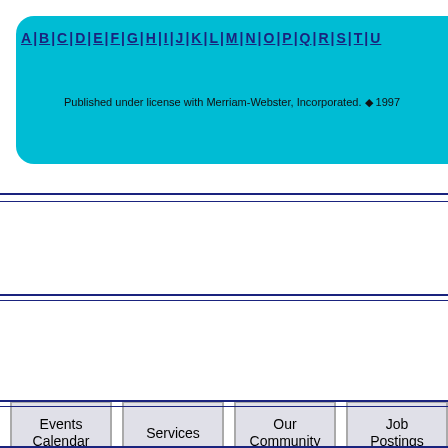[Figure (screenshot): Cyan rounded navigation bar with alphabetical links A through T (partial)]
Published under license with Merriam-Webster, Incorporated. ◆ 1997
[Figure (screenshot): Navigation buttons row: Events Calendar, Services, Our Community, Job Postings]
[Figure (photo): Cyan rounded banner containing a photo strip with fire/flame imagery on left, water/dock scene in middle, and outdoor scene on right]
[Figure (screenshot): Sponsor buttons row: FAST COMMAND logo, Mental Health (blue), Heart Health (dark red), Search TOP Sites (purple)]